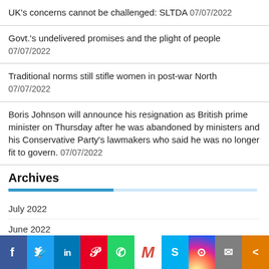UK's concerns cannot be challenged: SLTDA 07/07/2022
Govt.'s undelivered promises and the plight of people 07/07/2022
Traditional norms still stifle women in post-war North 07/07/2022
Boris Johnson will announce his resignation as British prime minister on Thursday after he was abandoned by ministers and his Conservative Party's lawmakers who said he was no longer fit to govern. 07/07/2022
Archives
July 2022
June 2022